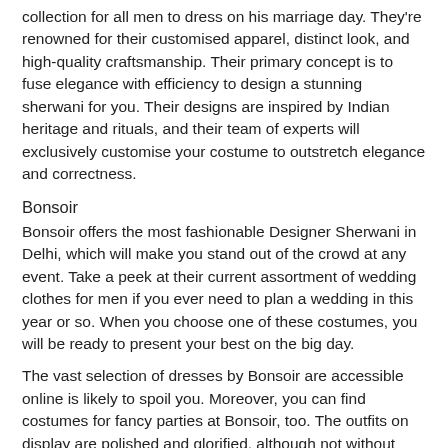collection for all men to dress on his marriage day. They're renowned for their customised apparel, distinct look, and high-quality craftsmanship. Their primary concept is to fuse elegance with efficiency to design a stunning sherwani for you. Their designs are inspired by Indian heritage and rituals, and their team of experts will exclusively customise your costume to outstretch elegance and correctness.
Bonsoir
Bonsoir offers the most fashionable Designer Sherwani in Delhi, which will make you stand out of the crowd at any event. Take a peek at their current assortment of wedding clothes for men if you ever need to plan a wedding in this year or so. When you choose one of these costumes, you will be ready to present your best on the big day.
The vast selection of dresses by Bonsoir are accessible online is likely to spoil you. Moreover, you can find costumes for fancy parties at Bonsoir, too. The outfits on display are polished and glorified, although not without interest and a sense of whimsy.